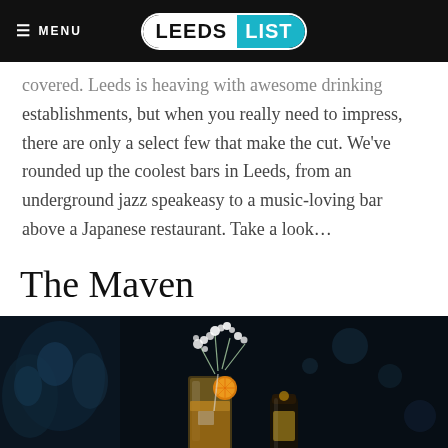MENU | LEEDS LIST
covered. Leeds is heaving with awesome drinking establishments, but when you really need to impress, there are only a select few that make the cut. We’ve rounded up the coolest bars in Leeds, from an underground jazz speakeasy to a music-loving bar above a Japanese restaurant. Take a look…
The Maven
[Figure (photo): A cocktail drink garnished with white flowers and an orange slice, served in a glass on a dark background with bokeh lighting effects, sitting on a tufted leather seat.]